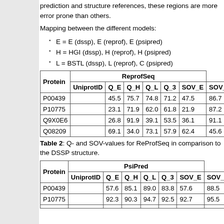prediction and structure references, these regions are more error prone than others.
Mapping between the different models:
E = E (dssp), E (reprof), E (psipred)
H = HGI (dssp), H (reprof), H (psipred)
L = BSTL (dssp), L (reprof), C (psipred)
| Protein | ReprofSeq |  |  |  |  |  |
| --- | --- | --- | --- | --- | --- | --- |
| UniprotID | Q_E | Q_H | Q_L | Q_3 | SOV_E | SOV_H |
| P00439 | 45.5 | 75.7 | 74.8 | 71.2 | 47.5 | 86.7 |
| P10775 | 23.1 | 71.9 | 62.0 | 61.8 | 21.9 | 87.2 |
| Q9X0E6 | 26.8 | 91.9 | 39.1 | 53.5 | 36.1 | 91.1 |
| Q08209 | 69.1 | 34.0 | 73.1 | 57.9 | 62.4 | 45.6 |
Table 2: Q- and SOV-values for ReProfSeq in comparison to the DSSP structure.
| Protein | PsiPred |  |  |  |  |  |
| --- | --- | --- | --- | --- | --- | --- |
| UniprotID | Q_E | Q_H | Q_L | Q_3 | SOV_E | SOV_H |
| P00439 | 57.6 | 85.1 | 89.0 | 83.8 | 57.6 | 88.5 |
| P10775 | 92.3 | 90.3 | 94.7 | 92.5 | 92.7 | 95.5 |